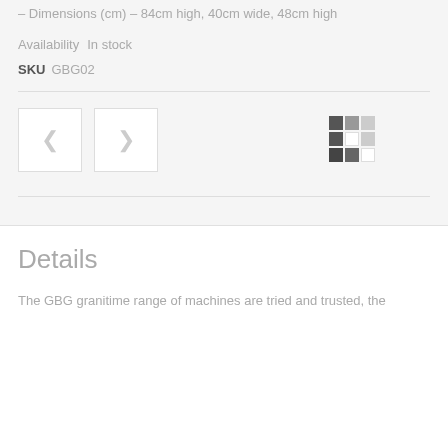– Dimensions (cm) – 84cm high, 40cm wide, 48cm high
Availability   In stock
SKU   GBG02
[Figure (photo): Two thumbnail image placeholders side by side with navigation arrows, and a 3x3 grid icon]
Details
The GBG granitime range of machines are tried and trusted, the